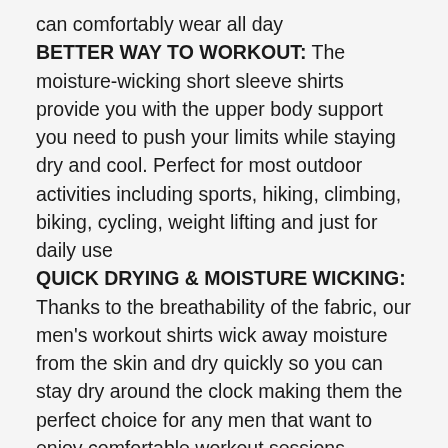can comfortably wear all day
BETTER WAY TO WORKOUT: The moisture-wicking short sleeve shirts provide you with the upper body support you need to push your limits while staying dry and cool. Perfect for most outdoor activities including sports, hiking, climbing, biking, cycling, weight lifting and just for daily use
QUICK DRYING & MOISTURE WICKING: Thanks to the breathability of the fabric, our men's workout shirts wick away moisture from the skin and dry quickly so you can stay dry around the clock making them the perfect choice for any men that want to enjoy comfortable workout sessions
STAY READY ALL YEAR: We designed our workout shirts for men to offer protection against the sun, enhanced breathability and just the right fit making them the perfect choice for use around the year in